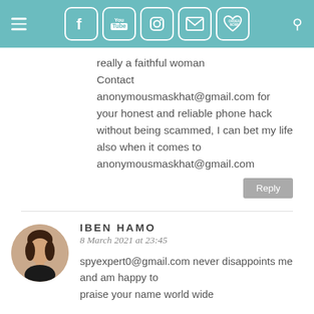Navigation bar with hamburger menu, social media icons (Facebook, YouTube, Instagram, Email, Order Now), and search icon
really a faithful woman Contact anonymousmaskhat@gmail.com for your honest and reliable phone hack without being scammed, I can bet my life also when it comes to anonymousmaskhat@gmail.com
Reply
IBEN HAMO
8 March 2021 at 23:45
spyexpert0@gmail.com never disappoints me and am happy to praise your name world wide